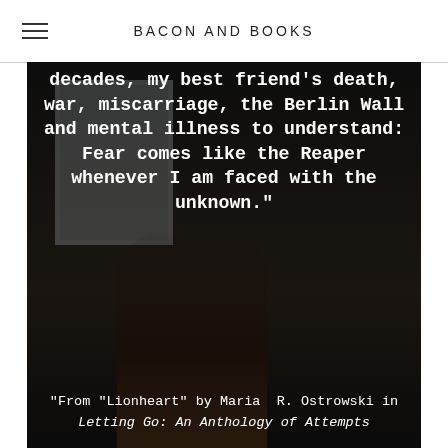BACON AND BOOKS
[Figure (photo): Dark photograph of a woman seen from behind standing near a window, with overlaid quote text and attribution.]
decades, my best friend’s death, war, miscarriage, the Berlin Wall and mental illness to understand: Fear comes like the Reaper whenever I am faced with the unknown."
"From "Lionheart" by Maria  R. Ostrowski in Letting Go: An Anthology of Attempts